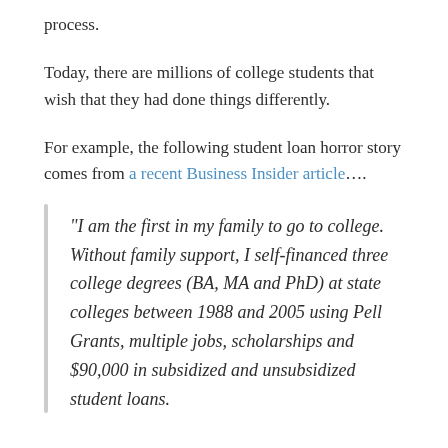process.
Today, there are millions of college students that wish that they had done things differently.
For example, the following student loan horror story comes from a recent Business Insider article….
“I am the first in my family to go to college. Without family support, I self-financed three college degrees (BA, MA and PhD) at state colleges between 1988 and 2005 using Pell Grants, multiple jobs, scholarships and $90,000 in subsidized and unsubsidized student loans.